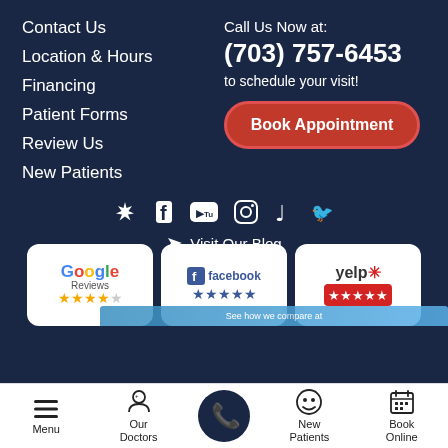Contact Us
Location & Hours
Financing
Patient Forms
Review Us
New Patients
Call Us Now at:
(703) 757-6453
to schedule your visit!
[Figure (other): Book Appointment red rounded button]
[Figure (other): Social media icons row: Yelp, Facebook, YouTube, Instagram, TikTok, Twitter]
Visit Our Blog
[Figure (other): Google Reviews badge with 4-star rating]
[Figure (other): Facebook Reviews badge with 5-star rating]
[Figure (other): Yelp Reviews badge with 5-star rating]
Menu | Our Doctors | (phone) | New Patients | Book Online